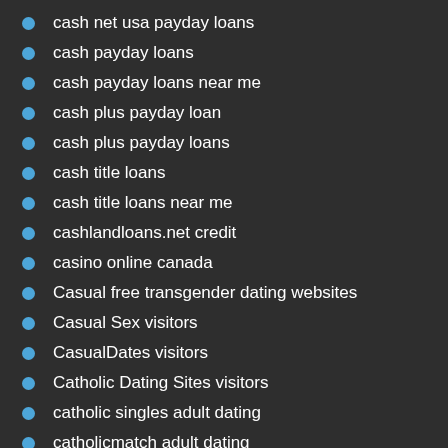cash net usa payday loans
cash payday loans
cash payday loans near me
cash plus payday loan
cash plus payday loans
cash title loans
cash title loans near me
cashlandloans.net credit
casino online canada
Casual free transgender dating websites
Casual Sex visitors
CasualDates visitors
Catholic Dating Sites visitors
catholic singles adult dating
catholicmatch adult dating